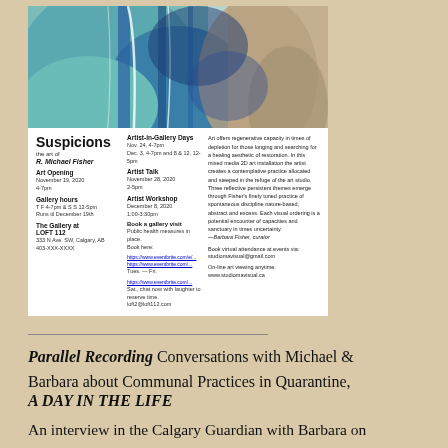[Figure (illustration): Exhibition flyer for 'Suspicions – the art of R. Michael Fisher' at The Gallery at LOFT 112, Calgary, AB. Includes abstract art image at top (teal and blue tones), event details including Art Opening November 19 2020, Gallery Hours, Artist-in-Gallery Days, Artist Talk November 28 2020, Artist Workshop December 8 2020, Book a gallery visit info, and descriptive text. White background flyer.]
Parallel Recording Conversations with Michael & Barbara about Communal Practices in Quarantine,
A DAY IN THE LIFE
An interview in the Calgary Guardian with Barbara on her art practice and work with Studio M* in Calgary,